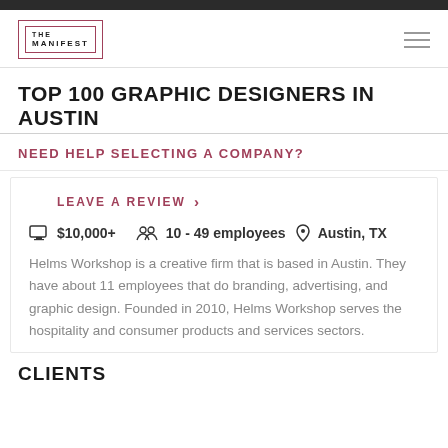THE MANIFEST
TOP 100 GRAPHIC DESIGNERS IN AUSTIN
NEED HELP SELECTING A COMPANY?
LEAVE A REVIEW >
$10,000+   10 - 49 employees   Austin, TX
Helms Workshop is a creative firm that is based in Austin. They have about 11 employees that do branding, advertising, and graphic design. Founded in 2010, Helms Workshop serves the hospitality and consumer products and services sectors.
CLIENTS